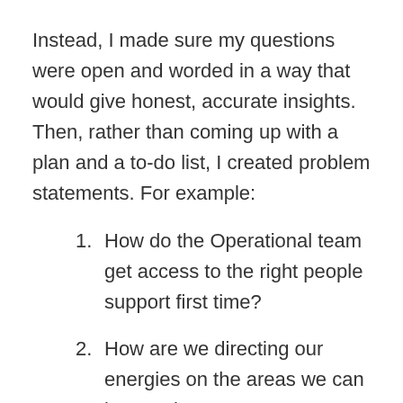Instead, I made sure my questions were open and worded in a way that would give honest, accurate insights. Then, rather than coming up with a plan and a to-do list, I created problem statements. For example:
How do the Operational team get access to the right people support first time?
How are we directing our energies on the areas we can impact the most?
We're still working on these but they have